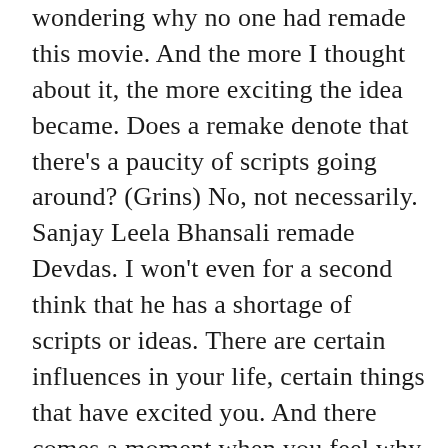wondering why no one had remade this movie. And the more I thought about it, the more exciting the idea became. Does a remake denote that there's a paucity of scripts going around? (Grins) No, not necessarily. Sanjay Leela Bhansali remade Devdas. I won't even for a second think that he has a shortage of scripts or ideas. There are certain influences in your life, certain things that have excited you. And there comes a moment when you feel why shouldn't I show the world my interpretation of something that I've really enjoyed watching. Was there a thought somewhere that you could better it? No, it was not a question of better or worse but